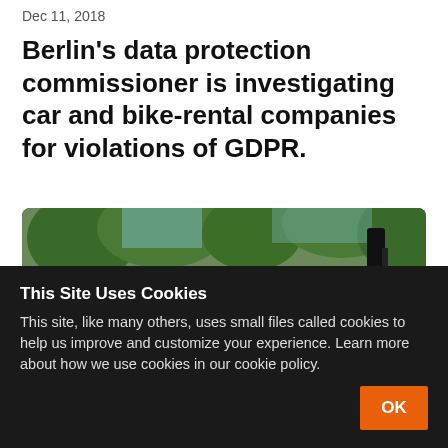Dec 11, 2018
Berlin’s data protection commissioner is investigating car and bike-rental companies for violations of GDPR.
[Figure (photo): Row of orange and black rental bikes parked outdoors with green foliage in the background]
This Site Uses Cookies
This site, like many others, uses small files called cookies to help us improve and customize your experience. Learn more about how we use cookies in our cookie policy.
OK